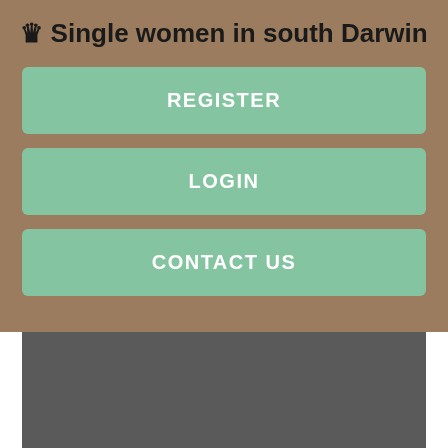♛ Single women in south Darwin
REGISTER
LOGIN
CONTACT US
[Figure (other): Gray rectangular image placeholder area]
But the dating expert warned that although it has its positives, the app really is for those looking for casual sex. Live Cam Girls. Search alert.
Inland lies the ranges of the hinterland, and further on the vast